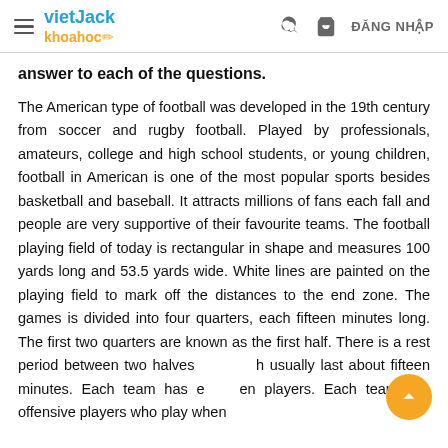vietJack khoahoc — ĐĂNG NHẬP
answer to each of the questions.
The American type of football was developed in the 19th century from soccer and rugby football. Played by professionals, amateurs, college and high school students, or young children, football in American is one of the most popular sports besides basketball and baseball. It attracts millions of fans each fall and people are very supportive of their favourite teams. The football playing field of today is rectangular in shape and measures 100 yards long and 53.5 yards wide. White lines are painted on the playing field to mark off the distances to the end zone. The games is divided into four quarters, each fifteen minutes long. The first two quarters are known as the first half. There is a rest period between two halves which usually last about fifteen minutes. Each team has eleven players. Each team has offensive players who play when